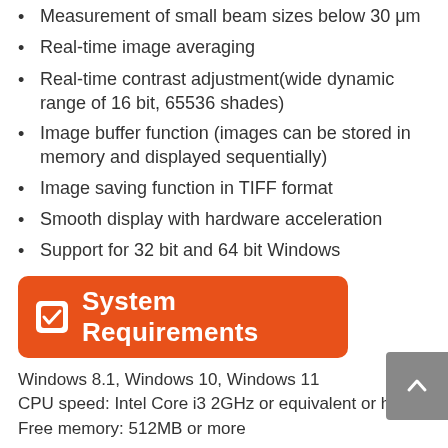Measurement of small beam sizes below 30 μm
Real-time image averaging
Real-time contrast adjustment(wide dynamic range of 16 bit, 65536 shades)
Image buffer function (images can be stored in memory and displayed sequentially)
Image saving function in TIFF format
Smooth display with hardware acceleration
Support for 32 bit and 64 bit Windows
System Requirements
Windows 8.1, Windows 10, Windows 11
CPU speed: Intel Core i3 2GHz or equivalent or higher
Free memory: 512MB or more